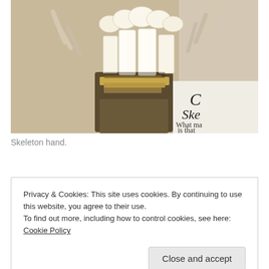[Figure (photo): A photograph of a skeleton hand holding or displaying multiple human teeth (molars and other teeth) on what appears to a stone or resin base. In the background to the right is a partially visible museum label card showing text 'Ske' and 'What ma is that'.]
Skeleton hand.
Privacy & Cookies: This site uses cookies. By continuing to use this website, you agree to their use.
To find out more, including how to control cookies, see here: Cookie Policy